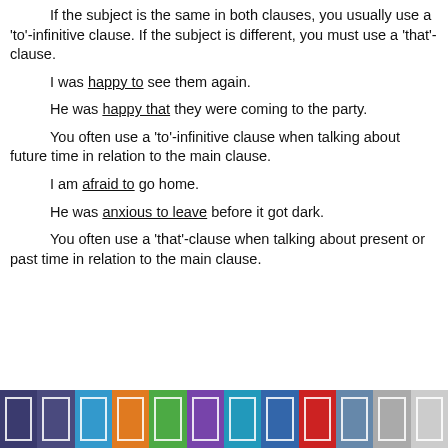If the subject is the same in both clauses, you usually use a ‘to’-infinitive clause. If the subject is different, you must use a ‘that’-clause.
I was happy to see them again.
He was happy that they were coming to the party.
You often use a ‘to’-infinitive clause when talking about future time in relation to the main clause.
I am afraid to go home.
He was anxious to leave before it got dark.
You often use a ‘that’-clause when talking about present or past time in relation to the main clause.
[Figure (other): Row of 12 colored tab/button icons at the bottom of the page in various colors: dark blue, medium blue, cyan, orange, green, purple, teal, blue, red, steel blue, light gray, lighter gray.]